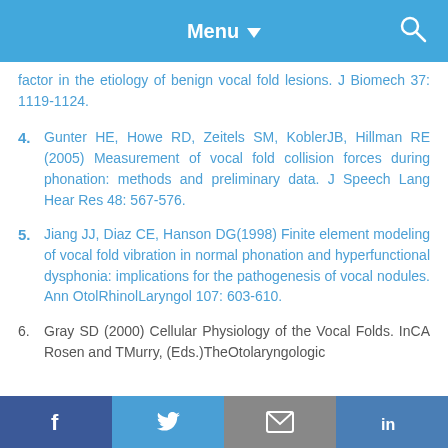Menu
factor in the etiology of benign vocal fold lesions. J Biomech 37: 1119-1124.
4. Gunter HE, Howe RD, Zeitels SM, KoblerJB, Hillman RE (2005) Measurement of vocal fold collision forces during phonation: methods and preliminary data. J Speech Lang Hear Res 48: 567-576.
5. Jiang JJ, Diaz CE, Hanson DG(1998) Finite element modeling of vocal fold vibration in normal phonation and hyperfunctional dysphonia: implications for the pathogenesis of vocal nodules. Ann OtolRhinolLaryngol 107: 603-610.
6. Gray SD (2000) Cellular Physiology of the Vocal Folds. InCA Rosen and TMurry, (Eds.)TheOtolaryngologic
f  t  mail  in